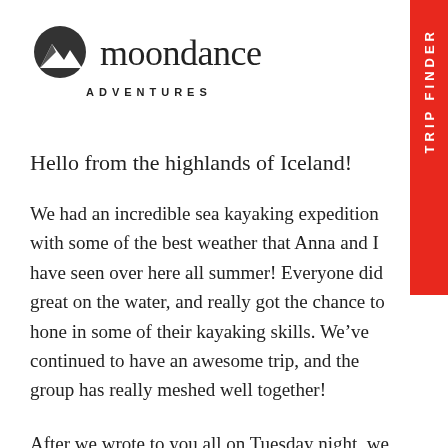[Figure (logo): Moondance Adventures logo with mountain/moon icon and text 'moondance ADVENTURES']
Hello from the highlands of Iceland!
We had an incredible sea kayaking expedition with some of the best weather that Anna and I have seen over here all summer! Everyone did great on the water, and really got the chance to hone in some of their kayaking skills. We’ve continued to have an awesome trip, and the group has really meshed well together!
After we wrote to you all on Tuesday night, we got to experience one of the most amazing